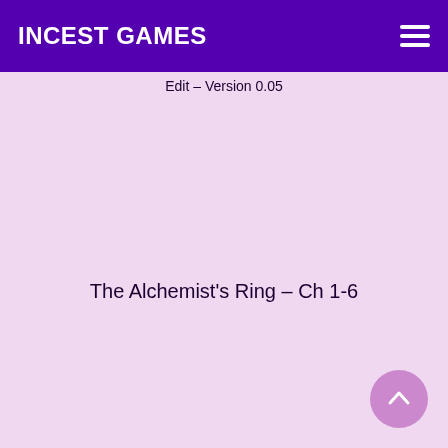INCEST GAMES
Edit – Version 0.05
The Alchemist's Ring – Ch 1-6